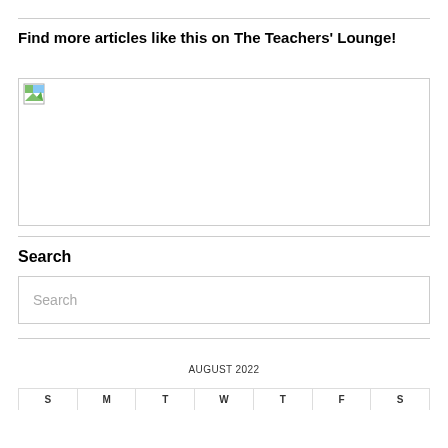Find more articles like this on The Teachers' Lounge!
[Figure (photo): Broken/placeholder image thumbnail with a small landscape icon (green and blue).]
Search
Search
AUGUST 2022
| S | M | T | W | T | F | S |
| --- | --- | --- | --- | --- | --- | --- |